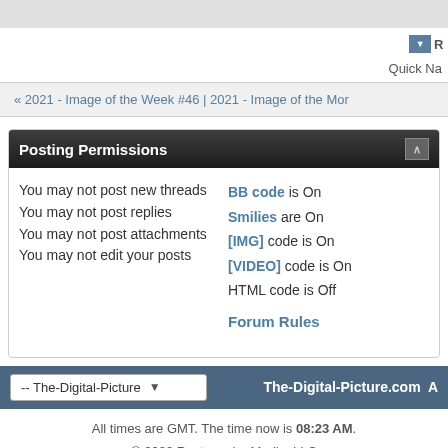Quick Na
« 2021 - Image of the Week #46 | 2021 - Image of the Mor
Posting Permissions
You may not post new threads
You may not post replies
You may not post attachments
You may not edit your posts
BB code is On
Smilies are On
[IMG] code is On
[VIDEO] code is On
HTML code is Off
Forum Rules
The-Digital-Picture.com A
All times are GMT. The time now is 08:23 AM.
© 2022 Rectangular Media, LLC